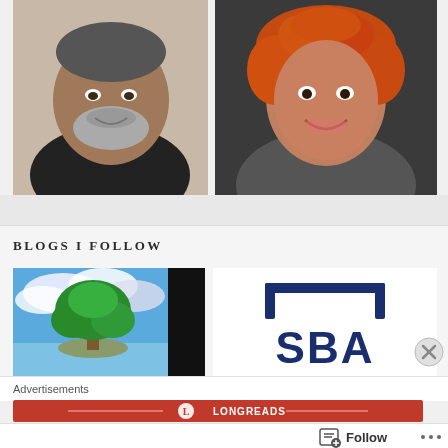[Figure (photo): Portrait photo of a middle-aged man with gray beard wearing a black shirt, smiling]
[Figure (photo): Portrait photo of a woman with curly reddish-orange hair wearing a dark gray top, smiling]
BLOGS I FOLLOW
[Figure (photo): Blog thumbnail: a large green tree on a small island in misty water with blue sky and sunlight, with a black strip on the right]
[Figure (logo): SBA logo on white background — square bracket shape above the letters SBA in dark navy blue]
Advertisements
[Figure (logo): Longreads logo — red banner with circular L icon and LONGREADS text in white]
[Figure (other): Follow button with document/plus icon and three dots more menu]